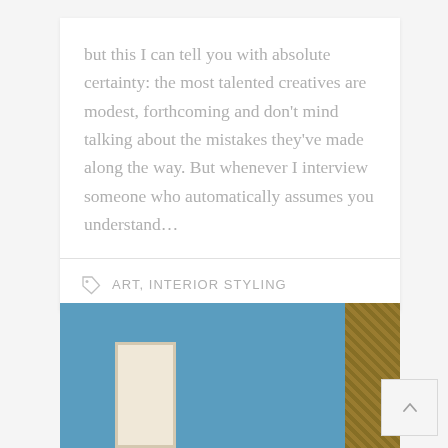but this I can tell you with absolute certainty: the most talented creatives are modest, forthcoming and don't mind talking about the mistakes they've made along the way. But whenever I interview someone who automatically assumes you understand...
ART, INTERIOR STYLING
[Figure (photo): Photo showing a blue wall with a framed white/cream canvas on the left and a wicker or rattan element on the right.]